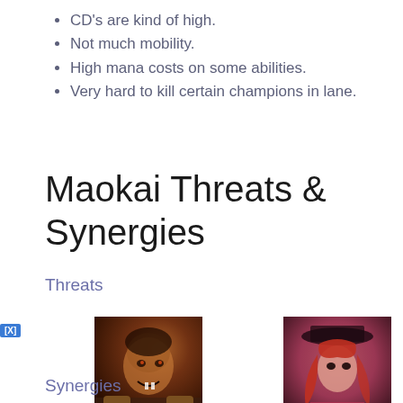CD's are kind of high.
Not much mobility.
High mana costs on some abilities.
Very hard to kill certain champions in lane.
Maokai Threats & Synergies
Threats
[Figure (illustration): Champion portrait of Darius wild rift — a muscular warrior with fanged expression]
Darius wild rift
[Figure (illustration): Champion portrait of Fiora — a red-haired female duelist]
Fiora
[Figure (illustration): Champion portrait of Vayne — a figure with red goggles in dark purple tones]
Vayne
Synergies